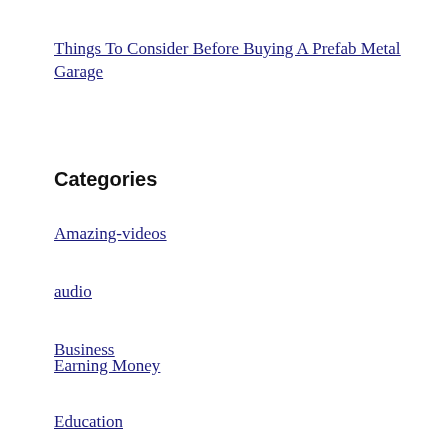Things To Consider Before Buying A Prefab Metal Garage
Categories
Amazing-videos
audio
Business
Earning Money
Education
ENTERTAINMENT